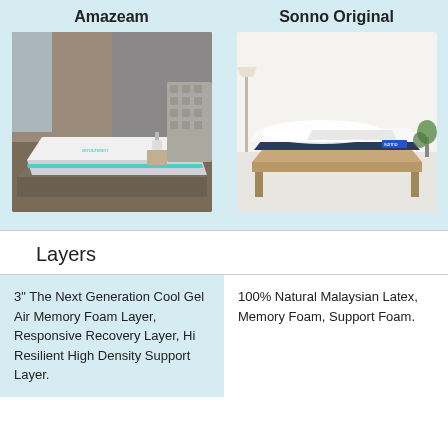Amazeam
Sonno Original
[Figure (photo): Photo of Amazeam mattress on a upholstered bed frame in a hotel-style bedroom setting]
[Figure (photo): Photo of Sonno Original mattress with white bedding on a wooden bed frame in a minimalist bedroom]
Layers
3" The Next Generation Cool Gel Air Memory Foam Layer, Responsive Recovery Layer, Hi Resilient High Density Support Layer.
100% Natural Malaysian Latex, Memory Foam, Support Foam.